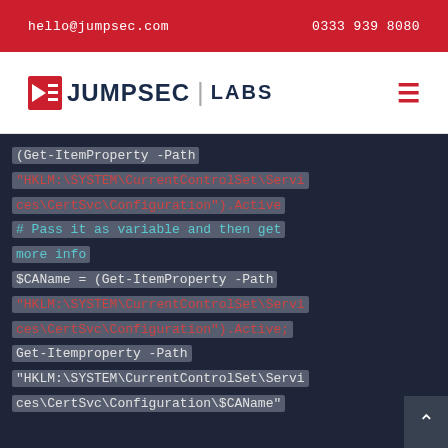hello@jumpsec.com   0333 939 8080
[Figure (logo): JumpSec Labs logo with navigation hamburger icon]
(Get-ItemProperty -Path "HKLM:\SYSTEM\CurrentControlSet\Services\CertSvc\Configuration").Active
# Pass it as variable and then get more info
$CAName = (Get-ItemProperty -Path "HKLM:\SYSTEM\CurrentControlSet\Services\CertSvc\Configuration").Active;
Get-Itemproperty -Path "HKLM:\SYSTEM\CurrentControlSet\Services\CertSvc\Configuration\$CAName"